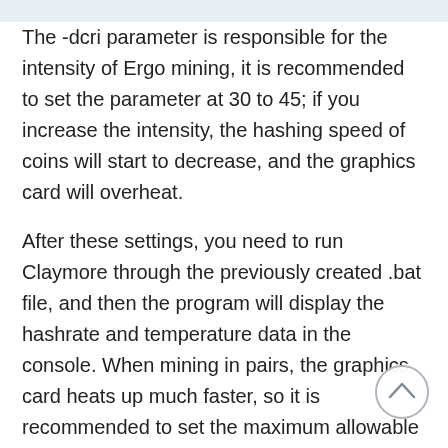The -dcri parameter is responsible for the intensity of Ergo mining, it is recommended to set the parameter at 30 to 45; if you increase the intensity, the hashing speed of coins will start to decrease, and the graphics card will overheat.
After these settings, you need to run Claymore through the previously created .bat file, and then the program will display the hashrate and temperature data in the console. When mining in pairs, the graphics card heats up much faster, so it is recommended to set the maximum allowable temperature at which the process will be automatically interrupted. You can experiment with